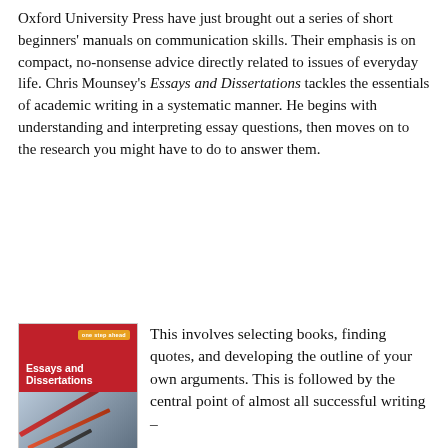Oxford University Press have just brought out a series of short beginners' manuals on communication skills. Their emphasis is on compact, no-nonsense advice directly related to issues of everyday life. Chris Mounsey's Essays and Dissertations tackles the essentials of academic writing in a systematic manner. He begins with understanding and interpreting essay questions, then moves on to the research you might have to do to answer them.
[Figure (photo): Book cover of 'Essays and Dissertations' by Chris Mounsey, published by Oxford University Press. Red cover with 'one step ahead' badge, white text title, and image of pens/pencils.]
This involves selecting books, finding quotes, and developing the outline of your own arguments. This is followed by the central point of almost all successful writing –